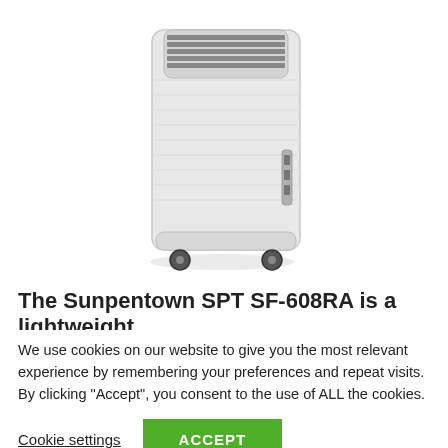[Figure (photo): Product photo of Sunpentown SPT SF-608RA air cooler — a white tower-shaped portable evaporative air cooler with horizontal vent slats at the top, textured white body panels, a small control panel on the side, and four black caster wheels at the base.]
The Sunpentown SPT SF-608RA is a lightweight
We use cookies on our website to give you the most relevant experience by remembering your preferences and repeat visits. By clicking “Accept”, you consent to the use of ALL the cookies.
Cookie settings   ACCEPT